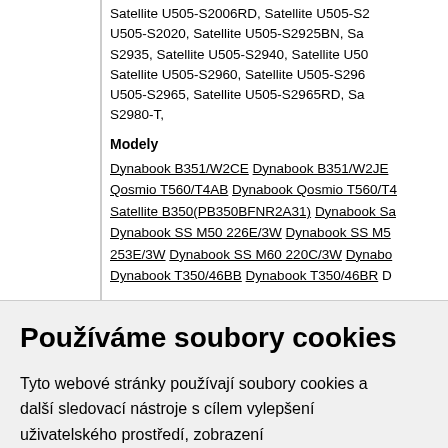Satellite U505-S2006RD, Satellite U505-S2020, Satellite U505-S2925BN, Satellite U505-S2935, Satellite U505-S2940, Satellite U505-S2960, Satellite U505-S2965, Satellite U505-S2965RD, Satellite U505-S2980-T,
Modely
Dynabook B351/W2CE Dynabook B351/W2JE Dynabook Qosmio T560/T4AB Dynabook Qosmio T560/T4 Dynabook Satellite B350(PB350BFNR2A31) Dynabook SS M50 226E/3W Dynabook SS M50 253E/3W Dynabook SS M60 220C/3W Dynabook T350/46BB Dynabook T350/46BR D...
Používáme soubory cookies
Tyto webové stránky používají soubory cookies a další sledovací nástroje s cílem vylepšení uživatelského prostředí, zobrazení přizpůsobeného obsahu a reklam, analýzy